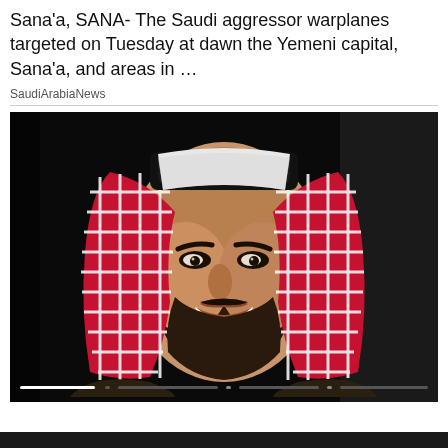Sana'a, SANA- The Saudi aggressor warplanes targeted on Tuesday at dawn the Yemeni capital, Sana'a, and areas in …
SaudiArabiaNews
[Figure (photo): Portrait photo of a man wearing traditional Saudi Arabian headwear (keffiyeh with agal) smiling, dark background]